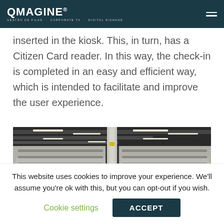QMAGINE® GESTÃO DE FILAS · CORPORATE TV · DIGITAL SIGNAGE
inserted in the kiosk. This, in turn, has a Citizen Card reader. In this way, the check-in is completed in an easy and efficient way, which is intended to facilitate and improve the user experience.
[Figure (photo): Interior of a building showing rows of grey metal storage shelving units with industrial overhead fluorescent lighting in a warehouse or storage facility.]
This website uses cookies to improve your experience. We'll assume you're ok with this, but you can opt-out if you wish.
Cookie settings  ACCEPT